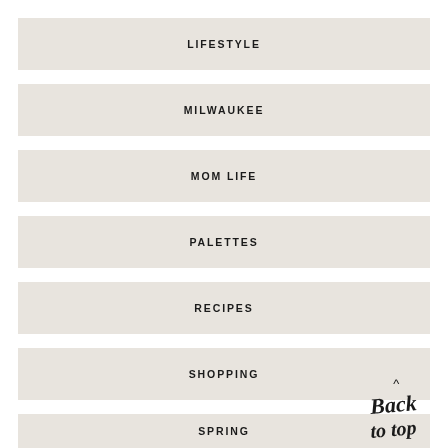LIFESTYLE
MILWAUKEE
MOM LIFE
PALETTES
RECIPES
SHOPPING
SPRING
Back to top